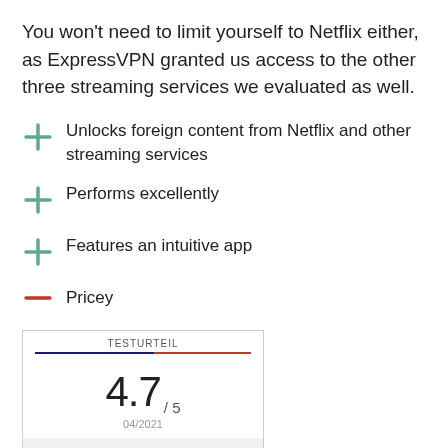You won't need to limit yourself to Netflix either, as ExpressVPN granted us access to the other three streaming services we evaluated as well.
Unlocks foreign content from Netflix and other streaming services
Performs excellently
Features an intuitive app
Pricey
| TESTURTEIL |
| --- |
| 4.7 / 5 |
| 04/2021 |
| excellent |
Visit Website